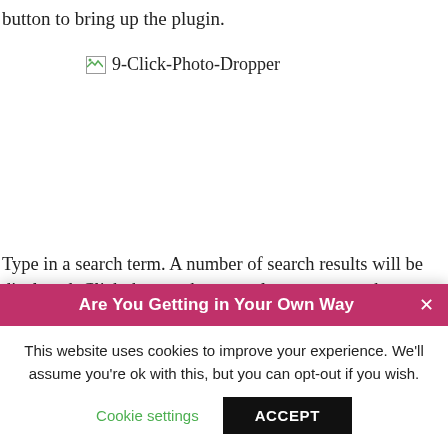button to bring up the plugin.
[Figure (other): Broken image placeholder with alt text '9-Click-Photo-Dropper']
Type in a search term. A number of search results will be displayed. Click the one that appeals to you most, but double check the appropriate license as the plugin is not
Are You Getting in Your Own Way
This website uses cookies to improve your experience. We'll assume you're ok with this, but you can opt-out if you wish.
Cookie settings   ACCEPT